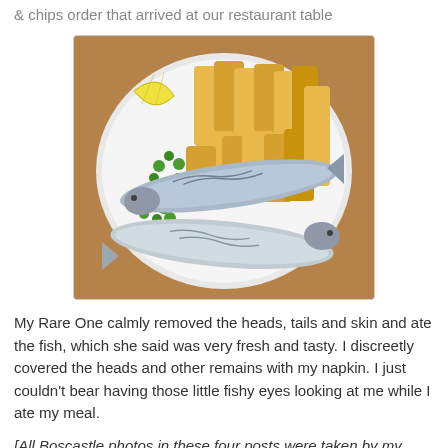& chips order that arrived at our restaurant table
[Figure (photo): A white plate with two whole mackerel fish (with heads and tails), a large pile of thick-cut chips (french fries), green peas, and a lemon wedge, served on a wooden table.]
My Rare One calmly removed the heads, tails and skin and ate the fish, which she said was very fresh and tasty. I discreetly covered the heads and other remains with my napkin. I just couldn't bear having those little fishy eyes looking at me while I ate my meal.
[All Boscastle photos in these four posts were taken by my Rare One, except for the first exterior shot of the Museum of Witchcraft]